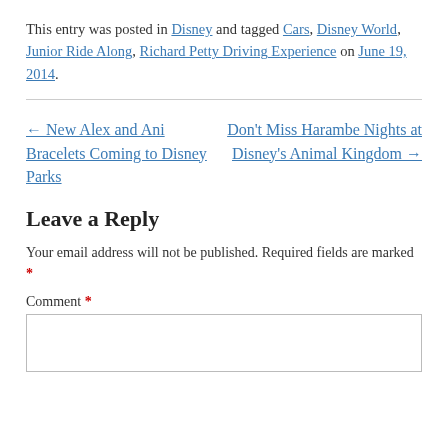This entry was posted in Disney and tagged Cars, Disney World, Junior Ride Along, Richard Petty Driving Experience on June 19, 2014.
← New Alex and Ani Bracelets Coming to Disney Parks
Don't Miss Harambe Nights at Disney's Animal Kingdom →
Leave a Reply
Your email address will not be published. Required fields are marked *
Comment *